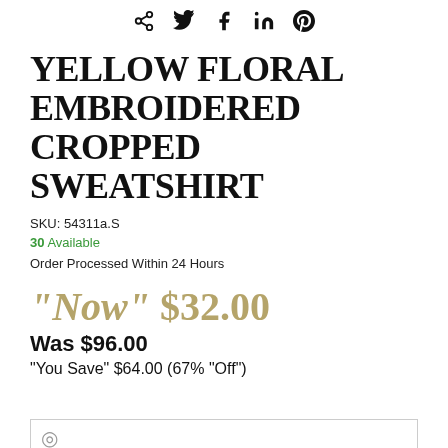[Figure (infographic): Social sharing icons: share, Twitter, Facebook, LinkedIn, Pinterest]
YELLOW FLORAL EMBROIDERED CROPPED SWEATSHIRT
SKU: 54311a.S
30 Available
Order Processed Within 24 Hours
"Now" $32.00
Was $96.00
"You Save" $64.00 (67% "Off")